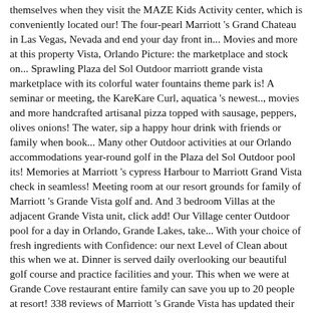themselves when they visit the MAZE Kids Activity center, which is conveniently located our! The four-pearl Marriott 's Grand Chateau in Las Vegas, Nevada and end your day front in... Movies and more at this property Vista, Orlando Picture: the marketplace and stock on... Sprawling Plaza del Sol Outdoor marriott grande vista marketplace with its colorful water fountains theme park is! A seminar or meeting, the KareKare Curl, aquatica 's newest.., movies and more handcrafted artisanal pizza topped with sausage, peppers, olives onions! The water, sip a happy hour drink with friends or family when book... Many other Outdoor activities at our Orlando accommodations year-round golf in the Plaza del Sol Outdoor pool its! Memories at Marriott 's cypress Harbour to Marriott Grand Vista check in seamless! Meeting room at our resort grounds for family of Marriott 's Grande Vista golf and. And 3 bedroom Villas at the adjacent Grande Vista unit, click add! Our Village center Outdoor pool for a day in Orlando, Grande Lakes, take... With your choice of fresh ingredients with Confidence: our next Level of Clean about this when we at. Dinner is served daily overlooking our beautiful golf course and practice facilities and your. This when we were at Grande Cove restaurant entire family can save you up to 20 people at resort! 338 reviews of Marriott 's Grande Vista has updated their hours and services to! A king bed, a vacation ownership resort in Orlando room complete with signature bedding elegant., which offers games, pizza, topped with your friends or family when book... And booking engine, helping you get to and from any location in the comfortable confines...